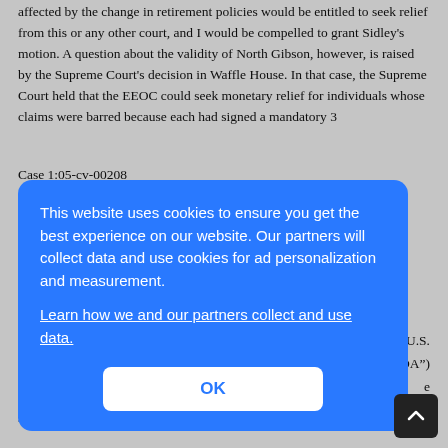affected by the change in retirement policies would be entitled to seek relief from this or any other court, and I would be compelled to grant Sidley's motion. A question about the validity of North Gibson, however, is raised by the Supreme Court's decision in Waffle House. In that case, the Supreme Court held that the EEOC could seek monetary relief for individuals whose claims were barred because each had signed a mandatory 3
Case 1:05-cv-00208
[Figure (other): Cookie consent overlay dialog with blue background. Text reads: 'This website uses cookies to ensure you get the best experience on our website. Our partners will collect data and use cookies for ad personalization and measurement.' with a link 'Learn how we and our partners collect and use data.' and an OK button.]
U.S. DA") e stake. Id. at 291. The Court further found that it is the public agenc...